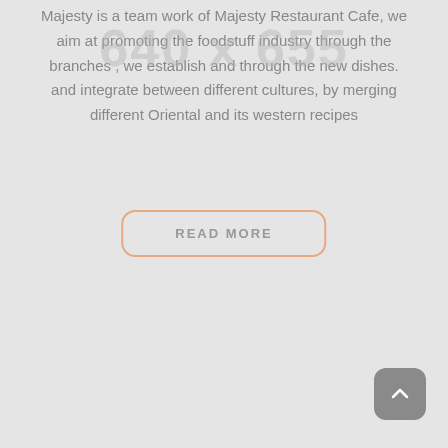Majesty is a team work of Majesty Restaurant Cafe, we aim at promoting the foodstuff industry through the branches , we establish and through the new dishes. and integrate between different cultures, by merging different Oriental and its western recipes
[Figure (other): Watermark placeholder text reading '640 x 655' in large light gray numbers overlaid on the page content]
READ MORE
[Figure (other): Scroll-to-top button: dark gray rounded square with a white upward-pointing chevron arrow, positioned at bottom-right corner]